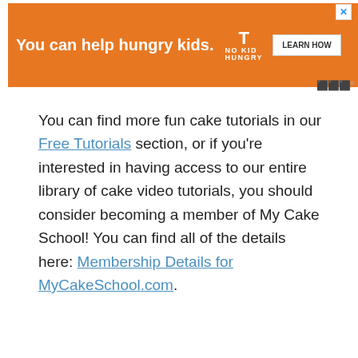[Figure (screenshot): Orange advertisement banner: 'You can help hungry kids.' with No Kid Hungry logo and LEARN HOW button]
You can find more fun cake tutorials in our Free Tutorials section, or if you're interested in having access to our entire library of cake video tutorials, you should consider becoming a member of My Cake School! You can find all of the details here: Membership Details for MyCakeSchool.com.
[Figure (photo): Photo of a bunny ear cake decorated with pearl sprinkles bunny ears, pink flowers, and cross-eye face on a mint green background with diamond pattern]
[Figure (screenshot): Black advertisement banner with text SHE CAN STEM in white bold letters]